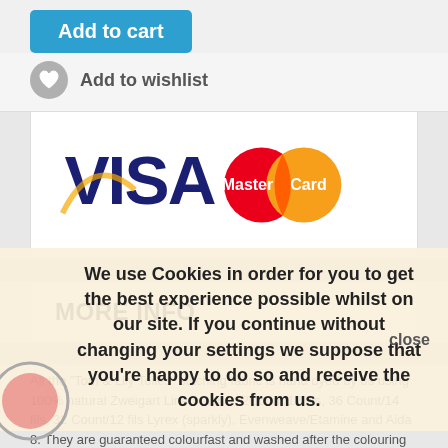[Figure (screenshot): Add to cart button - blue rounded rectangle with white text]
[Figure (screenshot): Add to wishlist row with heart icon]
[Figure (logo): Visa and MasterCard payment logos in white box]
MORE INFO
All the "Tom & Lily Toiles" stitching fabric is hand dyed by us using 100% natural Zweigart Linen fabric 32Count/12 fils, 36 Count/14 fils, 32 Count/12 fils Lyrex (sparkly), Evenweave/Etamine and Aida 8. They are guaranteed colourfast and washed after the colouring process. However if you're used to washing your stitching work, we recommend rinsing the fabric in cold water, before starting to embroider. (Darker colours can bleed slightly.) Please note that the colours can differ from one computer screen to another. The colours will
We use Cookies in order for you to get the best experience possible whilst on our site. If you continue without changing your settings we suppose that you're happy to do so and receive the cookies from us.